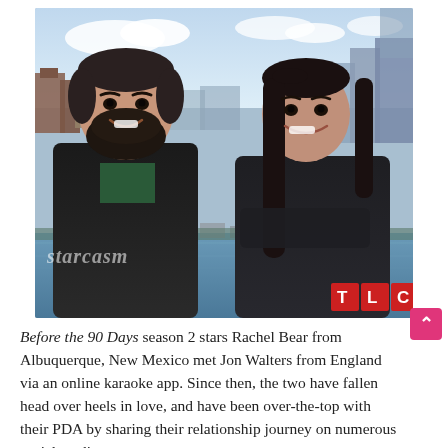[Figure (photo): A man with a dark beard and a woman with long dark hair smiling together outdoors by a waterfront/harbour, with buildings and water in the background. Starcasm watermark on lower left, TLC logo in red on lower right.]
Before the 90 Days season 2 stars Rachel Bear from Albuquerque, New Mexico met Jon Walters from England via an online karaoke app. Since then, the two have fallen head over heels in love, and have been over-the-top with their PDA by sharing their relationship journey on numerous social media